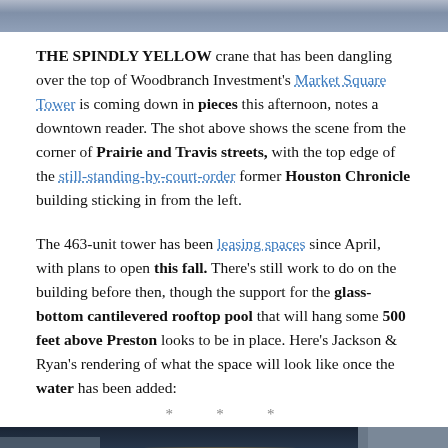[Figure (photo): Top portion of a photo showing urban buildings with a crane, cropped at the top of the page.]
THE SPINDLY YELLOW crane that has been dangling over the top of Woodbranch Investment's Market Square Tower is coming down in pieces this afternoon, notes a downtown reader. The shot above shows the scene from the corner of Prairie and Travis streets, with the top edge of the still-standing-by-court-order former Houston Chronicle building sticking in from the left.
The 463-unit tower has been leasing spaces since April, with plans to open this fall. There's still work to do on the building before then, though the support for the glass-bottom cantilevered rooftop pool that will hang some 500 feet above Preston looks to be in place. Here's Jackson & Ryan's rendering of what the space will look like once the water has been added:
* * *
[Figure (photo): Aerial rendering of the glass-bottom cantilevered rooftop pool at Market Square Tower, showing the pool area illuminated from below with surrounding city buildings.]